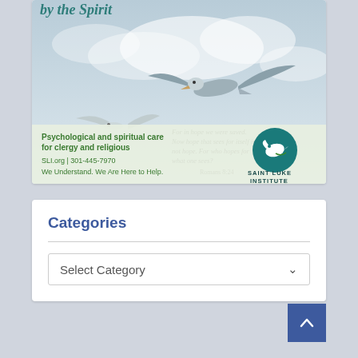[Figure (illustration): Saint Luke Institute advertisement showing seagulls in flight against a sky background, with italic scripture quote 'For in hope we were saved. Now hope that sees for itself is not hope. For who hopes for what one sees?' Romans 8:24, green text 'Psychological and spiritual care for clergy and religious', 'SLI.org | 301-445-7970', 'We Understand. We Are Here to Help.', and the Saint Luke Institute logo with a dove.]
Categories
Select Category